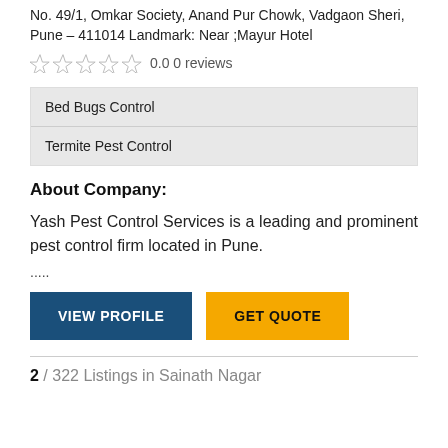No. 49/1, Omkar Society, Anand Pur Chowk, Vadgaon Sheri, Pune – 411014 Landmark: Near ;Mayur Hotel
☆ ☆ ☆ ☆ ☆  0.0 0 reviews
Bed Bugs Control
Termite Pest Control
About Company:
Yash Pest Control Services is a leading and prominent pest control firm located in Pune.
.....
VIEW PROFILE    GET QUOTE
2 / 322 Listings in Sainath Nagar